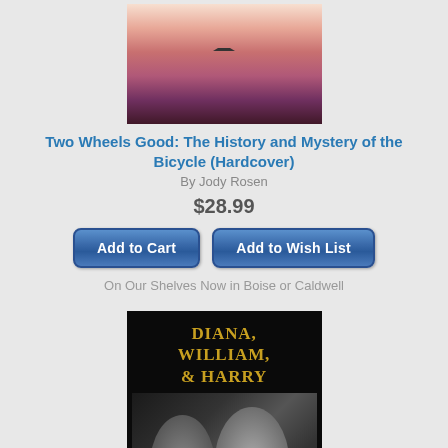[Figure (photo): Book cover for Two Wheels Good: The History and Mystery of the Bicycle with pink/purple gradient sky background]
Two Wheels Good: The History and Mystery of the Bicycle (Hardcover)
By Jody Rosen
$28.99
Add to Cart
Add to Wish List
On Our Shelves Now in Boise or Caldwell
[Figure (photo): Book cover for Diana, William, and Harry by James Patterson showing black and white photo of Diana and her sons]
Diana, William, and Harry: The Heartbreaking Story of a Princess and Mother (Hardcover)
By James Patterson, Chris Mooney